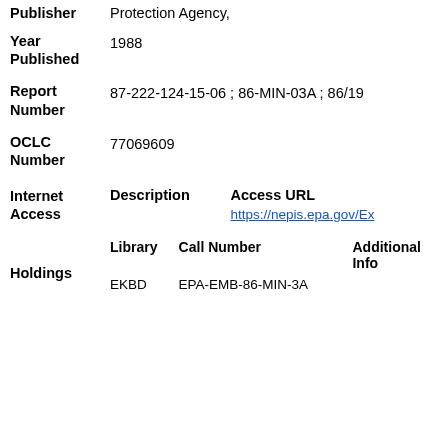Publisher: Protection Agency,
Year Published: 1988
Report Number: 87-222-124-15-06 ; 86-MIN-03A ; 86/19
OCLC Number: 77069609
| Description | Access URL |
| --- | --- |
|  | https://nepis.epa.gov/Ex |
| Library | Call Number | Additional Info |
| --- | --- | --- |
| EKBD | EPA-EMB-86-MIN-3A |  |